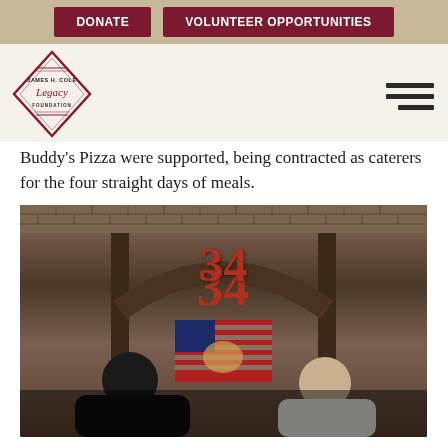DONATE | VOLUNTEER OPPORTUNITIES
[Figure (logo): James H. Cole Legacy Foundation diamond-shaped logo]
Buddy's Pizza were supported, being contracted as caterers for the four straight days of meals.
[Figure (photo): Two men posing inside a restaurant with a brick arch doorway showing the number 34 in red, and an American flag in the background. One man is wearing all black, the other is in a white uniform shirt.]